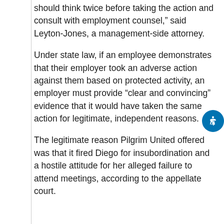should think twice before taking the action and consult with employment counsel," said Leyton-Jones, a management-side attorney.
Under state law, if an employee demonstrates that their employer took an adverse action against them based on protected activity, an employer must provide “clear and convincing” evidence that it would have taken the same action for legitimate, independent reasons.
The legitimate reason Pilgrim United offered was that it fired Diego for insubordination and a hostile attitude for her alleged failure to attend meetings, according to the appellate court.